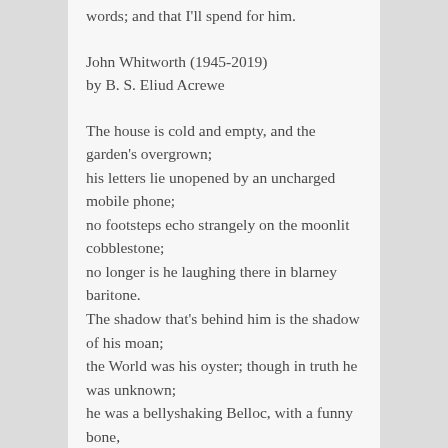words; and that I'll spend for him.
John Whitworth (1945-2019)
by B. S. Eliud Acrewe
The house is cold and empty, and the garden's overgrown;
his letters lie unopened by an uncharged mobile phone;
no footsteps echo strangely on the moonlit cobblestone;
no longer is he laughing there in blarney baritone.
The shadow that's behind him is the shadow of his moan;
the World was his oyster; though in truth he was unknown;
he was a bellyshaking Belloc, with a funny bone,
a rather clever, metric rhymer with an acid tone,
a barrier than sixlight camonach